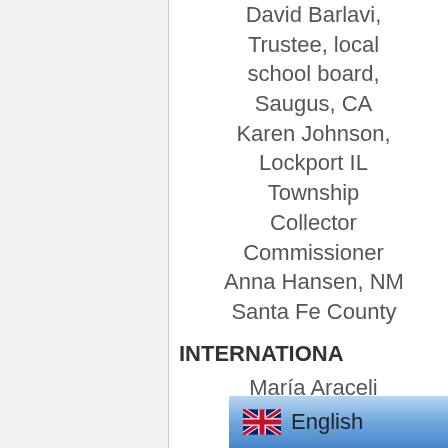David Barlavi, Trustee, local school board, Saugus, CA
Karen Johnson, Lockport IL Township Collector Commissioner
Anna Hansen, NM Santa Fe County
INTERNATIONA
María Araceli Garcia Carrazco